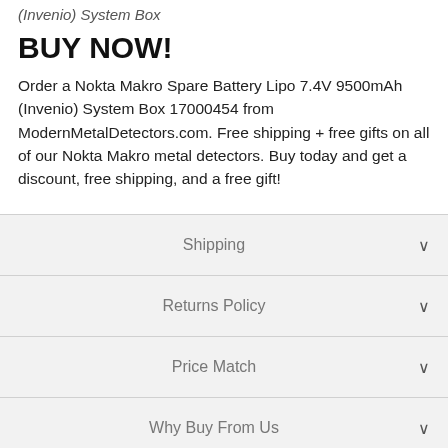(Invenio) System Box
BUY NOW!
Order a Nokta Makro Spare Battery Lipo 7.4V 9500mAh (Invenio) System Box 17000454 from ModernMetalDetectors.com. Free shipping + free gifts on all of our Nokta Makro metal detectors. Buy today and get a discount, free shipping, and a free gift!
Shipping
Returns Policy
Price Match
Why Buy From Us
The...